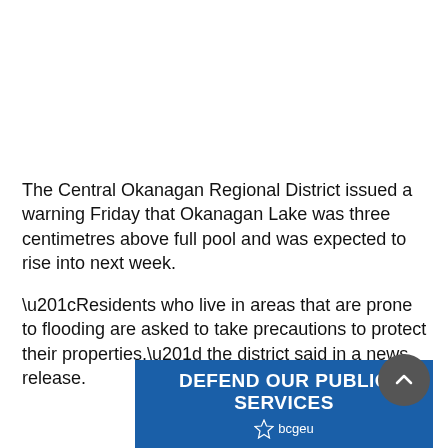The Central Okanagan Regional District issued a warning Friday that Okanagan Lake was three centimetres above full pool and was expected to rise into next week.
“Residents who live in areas that are prone to flooding are asked to take precautions to protect their properties,” the district said in a news release.
[Figure (other): Advertisement banner for BCGEU reading 'DEFEND OUR PUBLIC SERVICES' with bcgeu logo on blue background]